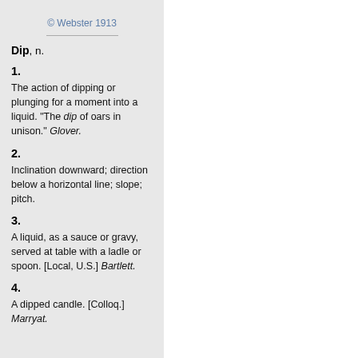© Webster 1913
Dip, n.
1.
The action of dipping or plunging for a moment into a liquid. "The dip of oars in unison." Glover.
2.
Inclination downward; direction below a horizontal line; slope; pitch.
3.
A liquid, as a sauce or gravy, served at table with a ladle or spoon. [Local, U.S.] Bartlett.
4.
A dipped candle. [Colloq.] Marryat.